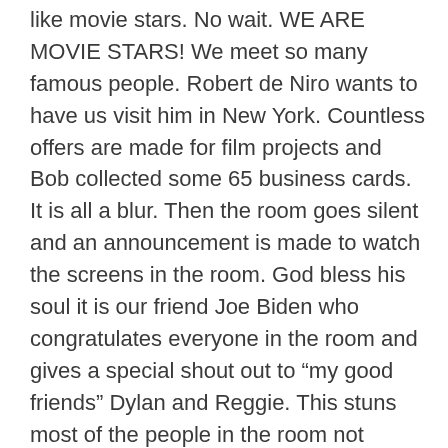like movie stars. No wait. WE ARE MOVIE STARS! We meet so many famous people. Robert de Niro wants to have us visit him in New York. Countless offers are made for film projects and Bob collected some 65 business cards. It is all a blur. Then the room goes silent and an announcement is made to watch the screens in the room. God bless his soul it is our friend Joe Biden who congratulates everyone in the room and gives a special shout out to “my good friends” Dylan and Reggie. This stuns most of the people in the room not knowing that two dogs are good friends of the American President.
At two in the morning the limo comes to take us back to Malibu. Dylan the Westie and I are so exhausted when we get back home Bob and Fay had to carry two sleeping dogs back to their doggie beds with a presidential smile on them.